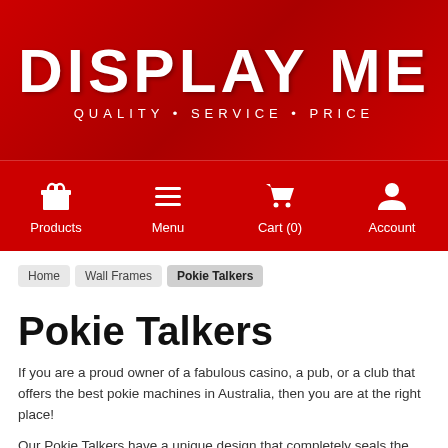[Figure (logo): Display Me logo with red background, white stylized text 'DISPLAY ME' and tagline 'QUALITY • SERVICE • PRICE']
Products | Menu | Cart (0) | Account
Home
Wall Frames
Pokie Talkers
Pokie Talkers
If you are a proud owner of a fabulous casino, a pub, or a club that offers the best pokie machines in Australia, then you are at the right place!
Our Pokie Talkers have a unique design that completely seals the bottom of the sign display in order to prevent the insert from falling out. These are quite sleek and stylish, and you can pick pokie talkers that should be attached